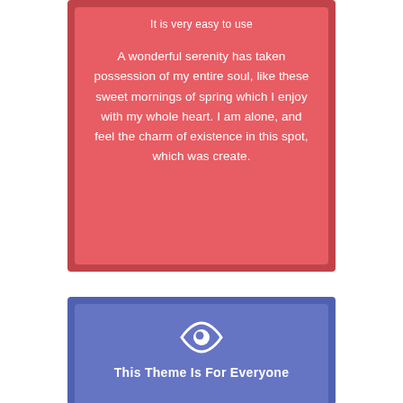It is very easy to use
A wonderful serenity has taken possession of my entire soul, like these sweet mornings of spring which I enjoy with my whole heart. I am alone, and feel the charm of existence in this spot, which was create.
[Figure (illustration): Eye icon in white on blue/purple background]
This Theme Is For Everyone